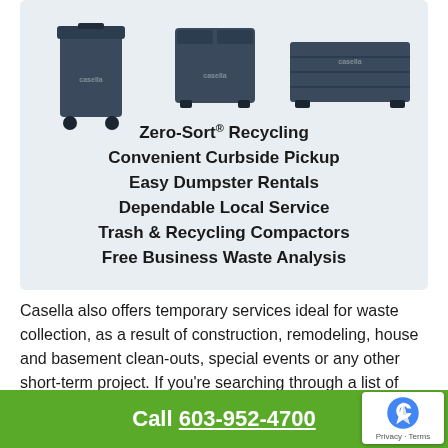[Figure (illustration): Three dark navy/slate colored waste bins: a wheeled trash cart (small), a front-load dumpster (medium), and a large roll-off container, all branded with Casella logo, displayed against a light blue-grey background.]
Zero-Sort® Recycling
Convenient Curbside Pickup
Easy Dumpster Rentals
Dependable Local Service
Trash & Recycling Compactors
Free Business Waste Analysis
Casella also offers temporary services ideal for waste collection, as a result of construction, remodeling, house and basement clean-outs, special events or any other short-term project. If you're searching through a list of
Call 603-952-4700